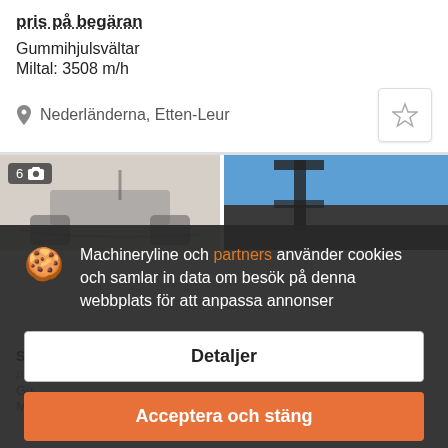pris på begäran
Gummihjulsvältar
Miltal: 3508 m/h
Nederländerna, Etten-Leur
[Figure (photo): Gallery images of a rubber tire roller machine, two panels shown]
Machineryline och partners använder cookies och samlar in data om besök på denna webbplats för att anpassa annonser
Detaljer
Acceptera och stäng
SAKAI TS-160
pris på begäran
Gu...
Miltal: 3042 m/h